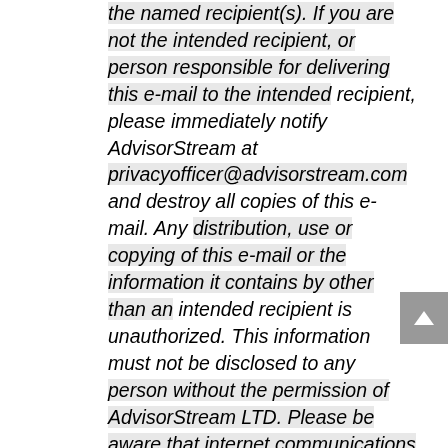the named recipient(s). If you are not the intended recipient, or person responsible for delivering this e-mail to the intended recipient, please immediately notify AdvisorStream at privacyofficer@advisorstream.com and destroy all copies of this e-mail. Any distribution, use or copying of this e-mail or the information it contains by other than an intended recipient is unauthorized. This information must not be disclosed to any person without the permission of AdvisorStream LTD. Please be aware that internet communications are subject to the risk of data corruption and other transmission errors. For information of